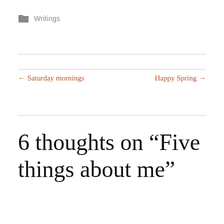Writings
← Saturday mornings
Happy Spring →
6 thoughts on “Five things about me”